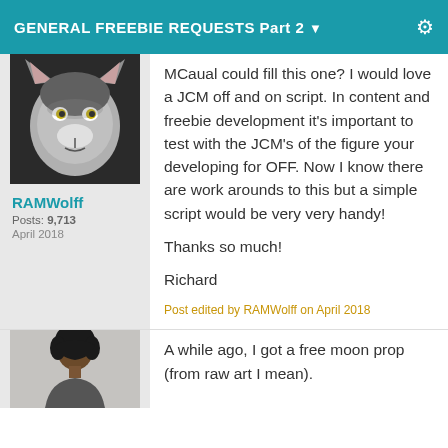GENERAL FREEBIE REQUESTS Part 2
[Figure (photo): Avatar image of a wolf, used as RAMWolff's profile picture]
RAMWolff
Posts: 9,713
April 2018
MCaual could fill this one?  I would love a JCM off and on script.  In content and freebie development it's important to test with the JCM's of the figure your developing for OFF.  Now I know there are work arounds to this but a simple script would be very very handy!

Thanks so much!

Richard
Post edited by RAMWolff on April 2018
[Figure (photo): Avatar image of a person with dark curly hair, partial view]
A while ago, I got a free moon prop (from raw art I mean).